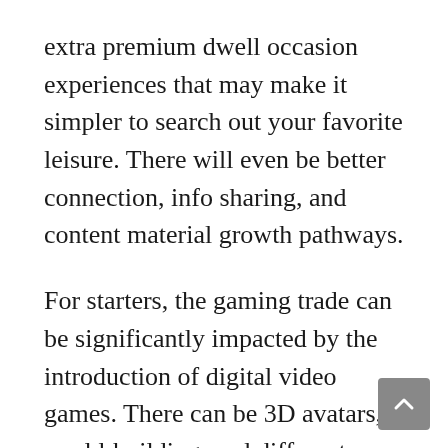extra premium dwell occasion experiences that may make it simpler to search out your favorite leisure. There will even be better connection, info sharing, and content material growth pathways.
For starters, the gaming trade can be significantly impacted by the introduction of digital video games. There can be 3D avatars, world-building, and different immersive options. Take the instance of Roblox which has a big assortment of video games. It positive aspects new customers every day. Simply think about the impression the metaverse evolution could have on gaming